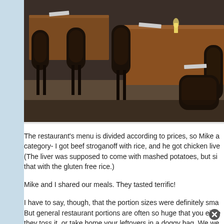[Figure (photo): Interior photo of a restaurant with dark wooden chairs and tables set with napkins and cutlery, candlelight visible on the table, dim ambiance.]
The restaurant's menu is divided according to prices, so Mike a category- I got beef stroganoff with rice, and he got chicken live (The liver was supposed to come with mashed potatoes, but si that with the gluten free rice.)
Mike and I shared our meals. They tasted terrific!
I have to say, though, that the portion sizes were definitely sma But general restaurant portions are often so huge that you eithe they toss it, or take home your leftovers in a doggy bag. We we leaving satiated but not stuffed.